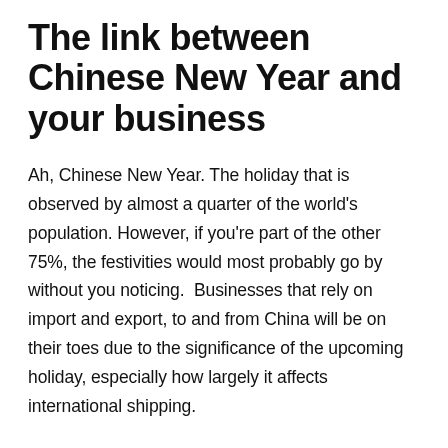The link between Chinese New Year and your business
Ah, Chinese New Year. The holiday that is observed by almost a quarter of the world's population. However, if you're part of the other 75%, the festivities would most probably go by without you noticing.  Businesses that rely on import and export, to and from China will be on their toes due to the significance of the upcoming holiday, especially how largely it affects international shipping.